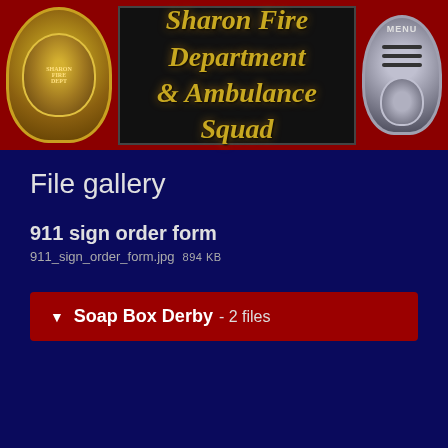[Figure (logo): Sharon Fire Department & Ambulance Squad header banner with two badges on red background and black center panel with gold text]
File gallery
911 sign order form
911_sign_order_form.jpg  894 KB
Soap Box Derby - 2 files